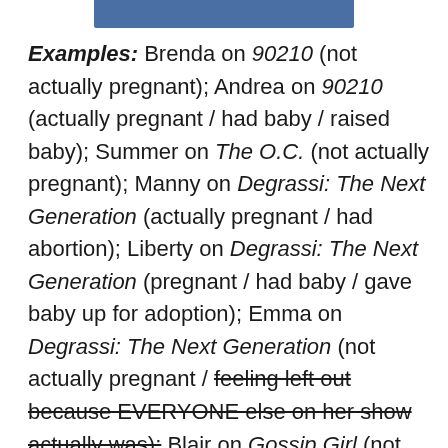[Figure (photo): Partial image of a person visible at the top of the page, cropped]
Examples: Brenda on 90210 (not actually pregnant); Andrea on 90210 (actually pregnant / had baby / raised baby); Summer on The O.C. (not actually pregnant); Manny on Degrassi: The Next Generation (actually pregnant / had abortion); Liberty on Degrassi: The Next Generation (pregnant / had baby / gave baby up for adoption); Emma on Degrassi: The Next Generation (not actually pregnant / feeling left out because EVERYONE else on her show actually was); Blair on Gossip Girl (not actually pregnant);  Georgina on Gossip Girl (To Be Determined?); Amy on Secret Life of the American Teenager (actually pregnant / had baby / is raising baby); Quinn on Glee (actually pregnant / had baby / gave baby up for adoption).